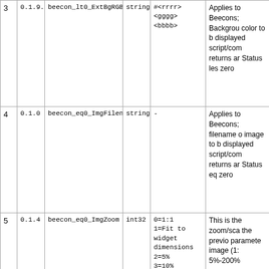| # | Ver | Name | Type | Values | Description |
| --- | --- | --- | --- | --- | --- |
| 3 | 0.1.9.1 | beecon_lt0_ExtBgRGB | string | #<rrrr>
<gggg>
<bbbb> | Applies to Beecons; Background color to be displayed script/com returns an Status les zero |
| 4 | 0.1.0 | beecon_eq0_ImgFilename | string | - | Applies to Beecons; filename of image to be displayed script/com returns an Status eq zero |
| 5 | 0.1.4 | beecon_eq0_ImgZoom | int32 | 0=1:1
1=Fit to widget dimensions
2=5%
3=10%
4=15%
... till
200% | This is the zoom/sca the previo paramete image (1: 5%-200% |